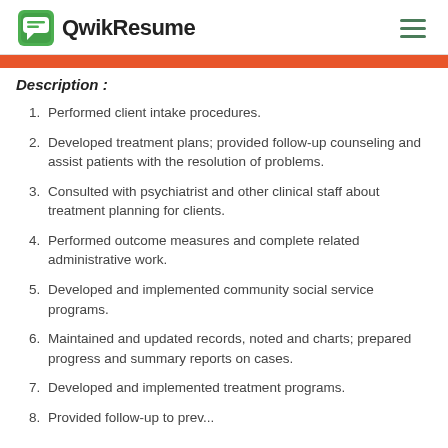QwikResume
Description :
Performed client intake procedures.
Developed treatment plans; provided follow-up counseling and assist patients with the resolution of problems.
Consulted with psychiatrist and other clinical staff about treatment planning for clients.
Performed outcome measures and complete related administrative work.
Developed and implemented community social service programs.
Maintained and updated records, noted and charts; prepared progress and summary reports on cases.
Developed and implemented treatment programs.
Provided follow-up to prev...